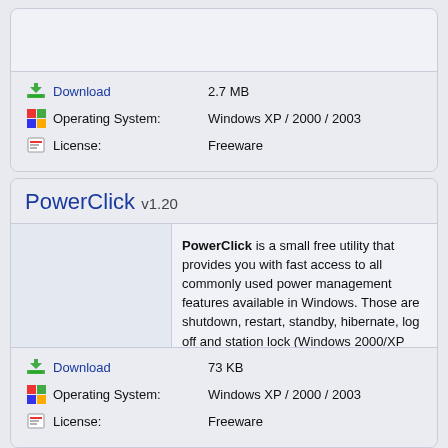Download  2.7 MB
Operating System:  Windows XP / 2000 / 2003
License:  Freeware
PowerClick  v1.20
PowerClick is a small free utility that provides you with fast access to all commonly used power management features available in Windows. Those are shutdown, restart, standby, hibernate, log off and station lock (Windows 2000/XP only).
Download  73 KB
Operating System:  Windows XP / 2000 / 2003
License:  Freeware